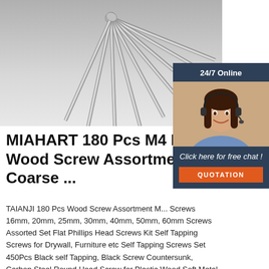[Figure (photo): Photo of multiple long silver metal screws fanned out against a white/grey background, showing threaded shafts with round heads]
[Figure (infographic): Chat widget overlay showing '24/7 Online' header, photo of a smiling woman with headset, 'Click here for free chat!' text, and an orange 'QUOTATION' button]
MIAHART 180 Pcs M4 Black Wood Screw Assortment Coarse ...
TAIANJI 180 Pcs Wood Screw Assortment M... Screws 16mm, 20mm, 25mm, 30mm, 40mm, 50mm, 60mm Screws Assorted Set Flat Phillips Head Screws Kit Self Tapping Screws for Drywall, Furniture etc Self Tapping Screws Set 450Pcs Black self Tapping, Black Screw Countersunk, Carbon Steel Round Head Screw for Plastic Wood Soft Metal (9 Sizes)